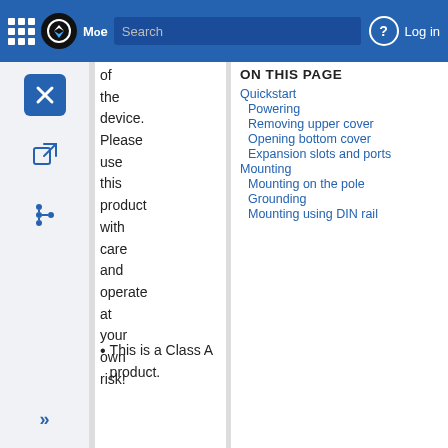Moe Search | Log in
the device. Please use this product with care and operate at your own risk!
ON THIS PAGE
Quickstart
Powering
Removing upper cover
Opening bottom cover
Expansion slots and ports
Mounting
Mounting on the pole
Grounding
Mounting using DIN rail
This is a Class A product.